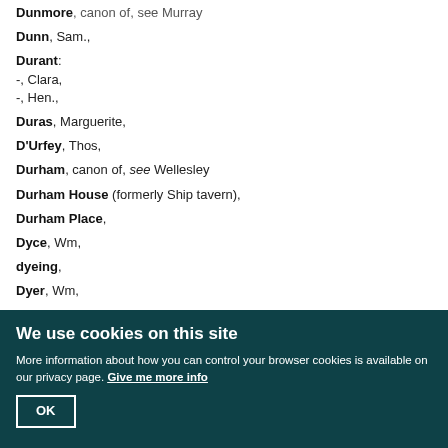Dunmore, canon of, see Murray
Dunn, Sam.,
Durant:
-, Clara,
-, Hen.,
Duras, Marguerite,
D'Urfey, Thos,
Durham, canon of, see Wellesley
Durham House (formerly Ship tavern),
Durham Place,
Dyce, Wm,
dyeing,
Dyer, Wm,
Dytche, Sarah,
We use cookies on this site
More information about how you can control your browser cookies is available on our privacy page. Give me more info
OK